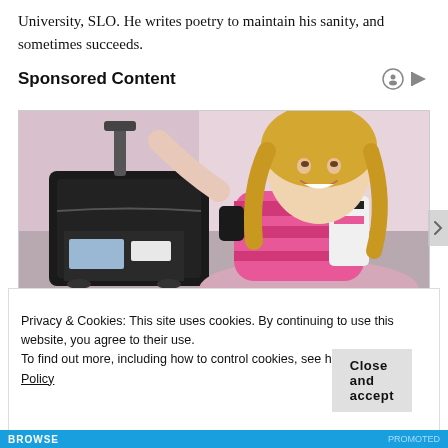University, SLO. He writes poetry to maintain his sanity, and sometimes succeeds.
Sponsored Content
[Figure (photo): A smiling blonde woman in a pink and black top kneeling next to a black rolling suitcase with travel items visible inside, in an indoor setting with a purple/pink background.]
Privacy & Cookies: This site uses cookies. By continuing to use this website, you agree to their use.
To find out more, including how to control cookies, see here: Cookie Policy
Close and accept
BROWSE